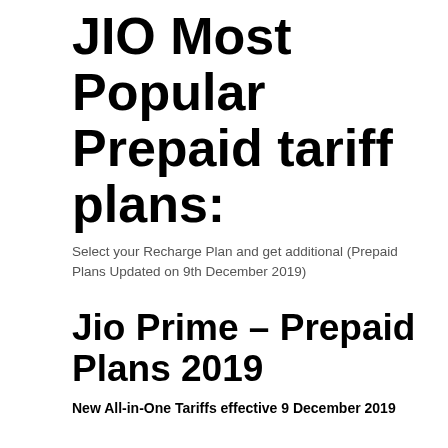JIO Most Popular Prepaid tariff plans:
Select your Recharge Plan and get additional (Prepaid Plans Updated on 9th December 2019)
Jio Prime – Prepaid Plans 2019
New All-in-One Tariffs effective 9 December 2019
|  | JIO “NEW ALL-IN-ONE” PLANS |
| --- | --- |